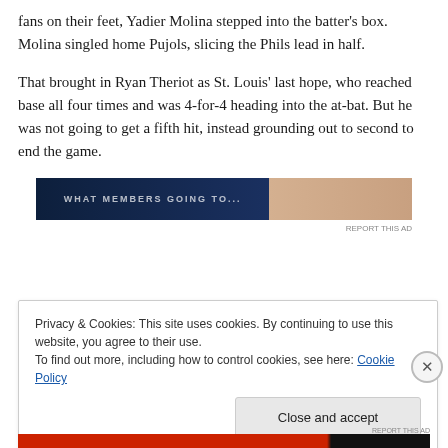fans on their feet, Yadier Molina stepped into the batter's box. Molina singled home Pujols, slicing the Phils lead in half.
That brought in Ryan Theriot as St. Louis' last hope, who reached base all four times and was 4-for-4 heading into the at-bat. But he was not going to get a fifth hit, instead grounding out to second to end the game.
[Figure (photo): Advertisement banner with dark navy background and partial image on right side. Text partially visible. 'REPORT THIS AD' label below.]
Privacy & Cookies: This site uses cookies. By continuing to use this website, you agree to their use.
To find out more, including how to control cookies, see here: Cookie Policy
Close and accept